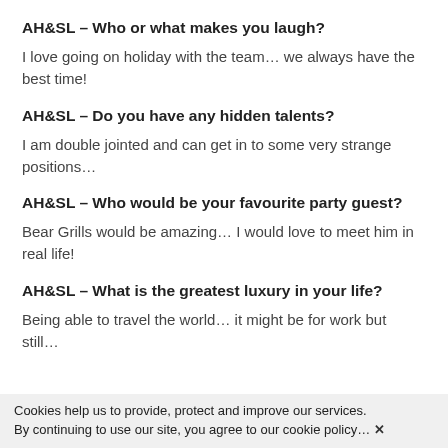AH&SL – Who or what makes you laugh?
I love going on holiday with the team… we always have the best time!
AH&SL – Do you have any hidden talents?
I am double jointed and can get in to some very strange positions…
AH&SL – Who would be your favourite party guest?
Bear Grills would be amazing… I would love to meet him in real life!
AH&SL – What is the greatest luxury in your life?
Being able to travel the world… it might be for work but still…
Cookies help us to provide, protect and improve our services. By continuing to use our site, you agree to our cookie policy… ✕
AH&SL – What is your favourite guilty pleasure?